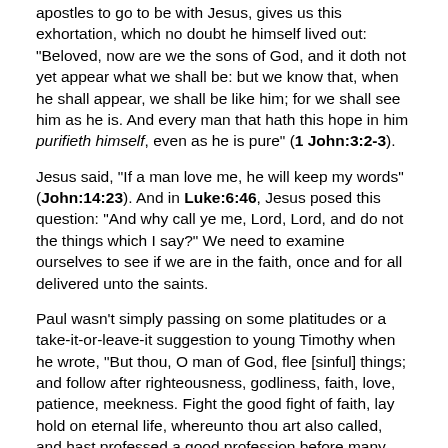apostles to go to be with Jesus, gives us this exhortation, which no doubt he himself lived out: "Beloved, now are we the sons of God, and it doth not yet appear what we shall be: but we know that, when he shall appear, we shall be like him; for we shall see him as he is. And every man that hath this hope in him purifieth himself, even as he is pure" (1 John:3:2-3).
Jesus said, "If a man love me, he will keep my words" (John:14:23). And in Luke:6:46, Jesus posed this question: "And why call ye me, Lord, Lord, and do not the things which I say?" We need to examine ourselves to see if we are in the faith, once and for all delivered unto the saints.
Paul wasn't simply passing on some platitudes or a take-it-or-leave-it suggestion to young Timothy when he wrote, "But thou, O man of God, flee [sinful] things; and follow after righteousness, godliness, faith, love, patience, meekness. Fight the good fight of faith, lay hold on eternal life, whereunto thou art also called, and hast professed a good profession before many witnesses. I give thee charge in the sight of God...that thou keep this commandment without spot, unrebukeable, until the appearing of our Lord Jesus Christ" (1 Timothy:6:11-14).